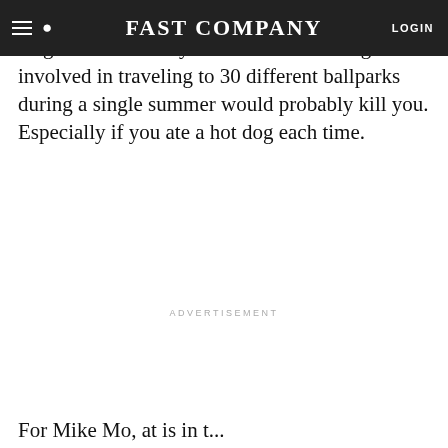FAST COMPANY
Baseball stadium. You think, oh, wouldn't that be great! And then you realize that the logistics involved in traveling to 30 different ballparks during a single summer would probably kill you. Especially if you ate a hot dog each time.
ADVERTISEMENT
For Mike Mo, at is in t...